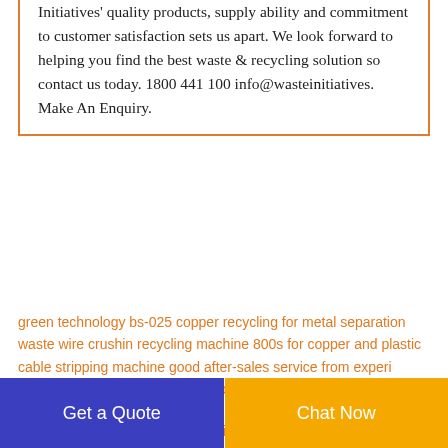Initiatives' quality products, supply ability and commitment to customer satisfaction sets us apart. We look forward to helping you find the best waste & recycling solution so contact us today. 1800 441 100 info@wasteinitiatives. Make An Enquiry.
green technology bs-025 copper recycling for metal separation
waste wire crushin recycling machine 800s for copper and plastic
cable stripping machine good after-sales service from experi
query price for sale blank circuit board recycling for outer and inner wire
how it cost a steps of waste plastic recycling for gold recovery
pvc cable plastic waste
price list of gcb500 waste circuit board for metal separation